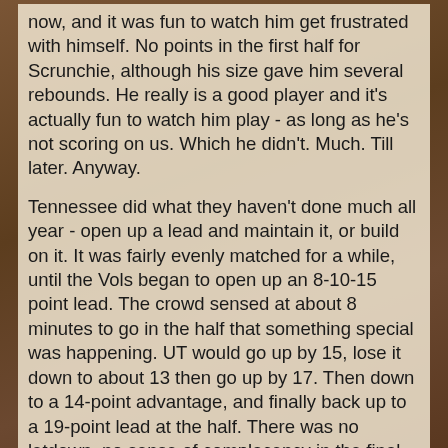now, and it was fun to watch him get frustrated with himself. No points in the first half for Scrunchie, although his size gave him several rebounds. He really is a good player and it's actually fun to watch him play - as long as he's not scoring on us. Which he didn't. Much. Till later. Anyway.
Tennessee did what they haven't done much all year - open up a lead and maintain it, or build on it. It was fairly evenly matched for a while, until the Vols began to open up an 8-10-15 point lead. The crowd sensed at about 8 minutes to go in the half that something special was happening. UT would go up by 15, lose it down to about 13 then go up by 17. Then down to a 14-point advantage, and finally back up to a 19-point lead at the half. There was no letdown, no sense of complacency in the final minutes and the tempo never wavered. They also played the clock well, limiting the number of possessions Florida could take advantage of and chose their shots well.
Even Super Senior Dane Bradshaw hit some nice shots and Ryan Childress had a sweet free-throw miss/rebound/jam that was probably one of the highlight plays of the year